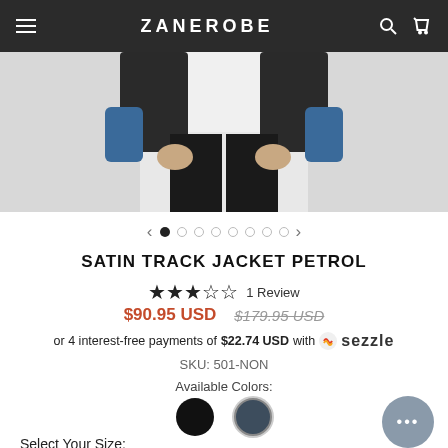ZANEROBE
[Figure (photo): Person wearing a dark track jacket, torso and hands visible, standing against a light background]
SATIN TRACK JACKET PETROL
★★★☆☆ 1 Review
$90.95 USD  $179.95 USD
or 4 interest-free payments of $22.74 USD with Sezzle
SKU: 501-NON
Available Colors:
Select Your Size: